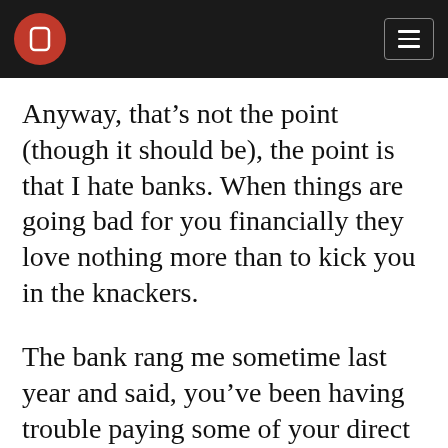[Logo and navigation bar]
Anyway, that’s not the point (though it should be), the point is that I hate banks. When things are going bad for you financially they love nothing more than to kick you in the knackers.
The bank rang me sometime last year and said, you’ve been having trouble paying some of your direct debits – would you like an overdraft facility as this might make life a little